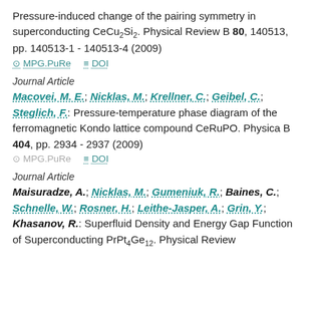Pressure-induced change of the pairing symmetry in superconducting CeCu2Si2. Physical Review B 80, 140513, pp. 140513-1 - 140513-4 (2009)
MPG.PuRe   DOI
Journal Article
Macovei, M. E.; Nicklas, M.; Krellner, C.; Geibel, C.; Steglich, F.: Pressure-temperature phase diagram of the ferromagnetic Kondo lattice compound CeRuPO. Physica B 404, pp. 2934 - 2937 (2009)
MPG.PuRe   DOI
Journal Article
Maisuradze, A.; Nicklas, M.; Gumeniuk, R.; Baines, C.; Schnelle, W.; Rosner, H.; Leithe-Jasper, A.; Grin, Y.; Khasanov, R.: Superfluid Density and Energy Gap Function of Superconducting PrPt4Ge12. Physical Review